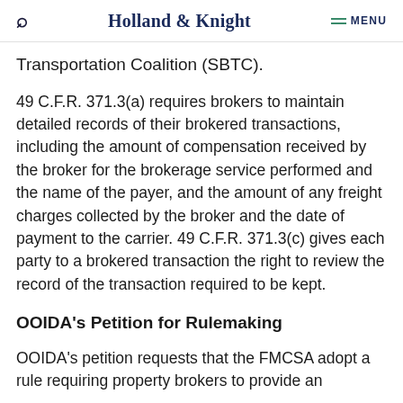Holland & Knight  MENU
Transportation Coalition (SBTC).
49 C.F.R. 371.3(a) requires brokers to maintain detailed records of their brokered transactions, including the amount of compensation received by the broker for the brokerage service performed and the name of the payer, and the amount of any freight charges collected by the broker and the date of payment to the carrier. 49 C.F.R. 371.3(c) gives each party to a brokered transaction the right to review the record of the transaction required to be kept.
OOIDA's Petition for Rulemaking
OOIDA's petition requests that the FMCSA adopt a rule requiring property brokers to provide an